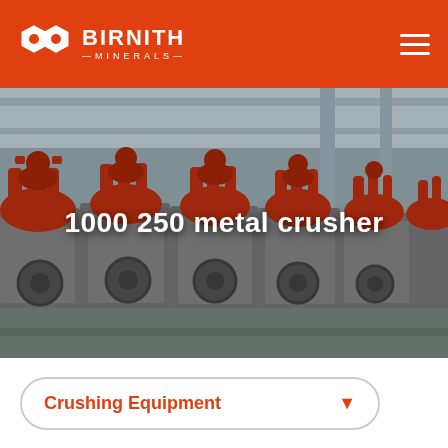BIRNITH — MINERALS
[Figure (photo): Industrial factory floor showing a row of large red-and-grey cone crusher machines lined up in a manufacturing facility with high ceilings and steel structure visible in the background.]
1000 250 metal crusher
Crushing Equipment